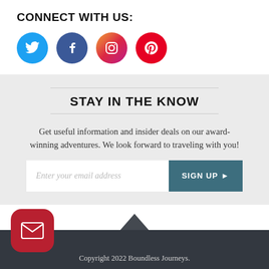CONNECT WITH US:
[Figure (illustration): Four social media icons in circles: Twitter (blue bird), Facebook (dark blue f), Instagram (gradient camera), Pinterest (red P)]
STAY IN THE KNOW
Get useful information and insider deals on our award-winning adventures. We look forward to traveling with you!
Enter your email address  SIGN UP ▶
[Figure (illustration): Red rounded square mail/email button icon]
Copyright 2022 Boundless Journeys.